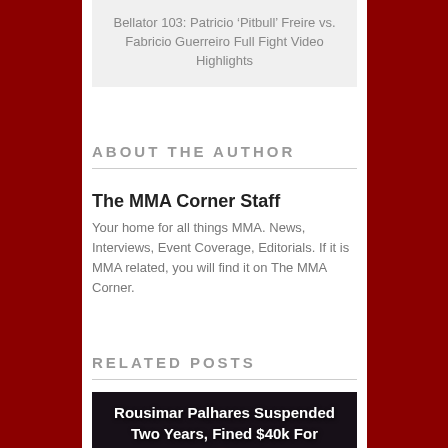Bellator 103: Patricio ‘Pitbull’ Freire vs. Fabricio Guerreiro Full Fight Video Highlights
ABOUT THE AUTHOR
The MMA Corner Staff
Your home for all things MMA. News, Interviews, Event Coverage, Editorials. If it is MMA related, you will find it on The MMA Corner.
RELATED POSTS
[Figure (photo): Dark photo with fighters, overlaid with white bold text reading: Rousimar Palhares Suspended Two Years, Fined $40k For Controversial Actions at WSOF]